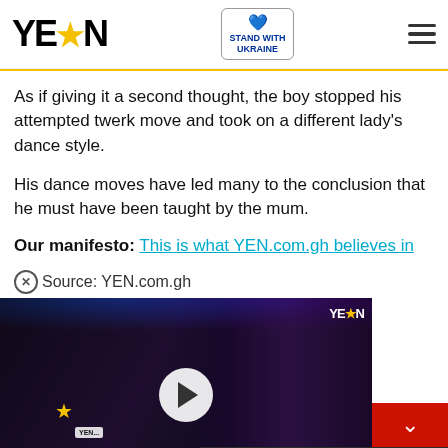YEN ★ | STAND WITH UKRAINE
As if giving it a second thought, the boy stopped his attempted twerk move and took on a different lady's dance style.
His dance moves have led many to the conclusion that he must have been taught by the mum.
Our manifesto: This is what YEN.com.gh believes in
Source: YEN.com.gh
[Figure (screenshot): Video thumbnail showing a woman being interviewed at a nightclub/event, with YEN logo watermark, play button overlay, and partial editor notification bar on the right side]
Help Protect Ukrainian Families DONATE NOW